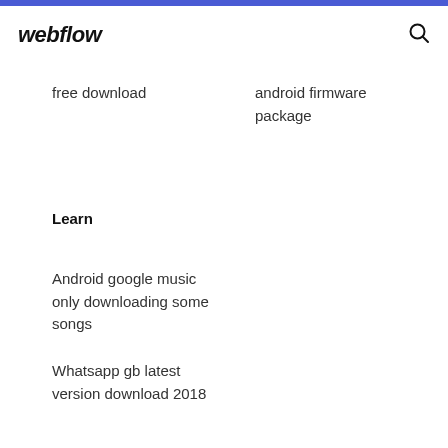webflow
free download
android firmware package
Learn
Android google music only downloading some songs
Whatsapp gb latest version download 2018